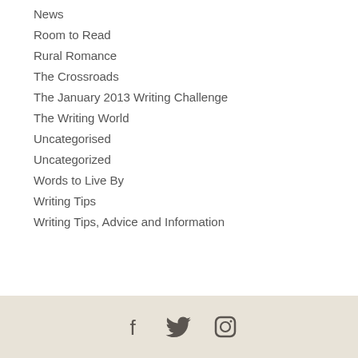News
Room to Read
Rural Romance
The Crossroads
The January 2013 Writing Challenge
The Writing World
Uncategorised
Uncategorized
Words to Live By
Writing Tips
Writing Tips, Advice and Information
Social media icons: Facebook, Twitter, Instagram